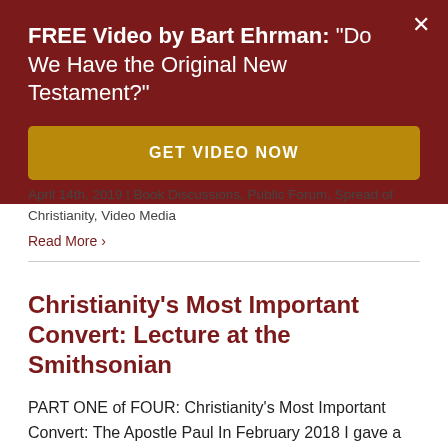FREE Video by Bart Ehrman: "Do We Have the Original New Testament?"
GET VIDEO NOW
April 14th, 2019 | Book Discussions, Public Forum, Spread of Christianity, Video Media
Read More ›
Christianity's Most Important Convert: Lecture at the Smithsonian
PART ONE of FOUR: Christianity's Most Important Convert: The Apostle Paul In February 2018 I gave a series of four lectures for the Smithsonian Associates in Washington DC, based on my book The Triumph of